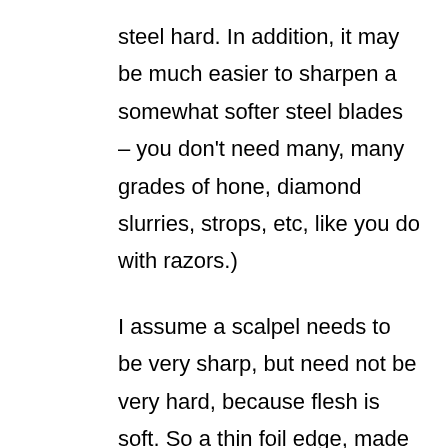steel hard. In addition, it may be much easier to sharpen a somewhat softer steel blades – you don't need many, many grades of hone, diamond slurries, strops, etc, like you do with razors.)
I assume a scalpel needs to be very sharp, but need not be very hard, because flesh is soft. So a thin foil edge, made out of somewhat softer steel than is in straight razors, makes sense there.
Likewise, at least one person on a